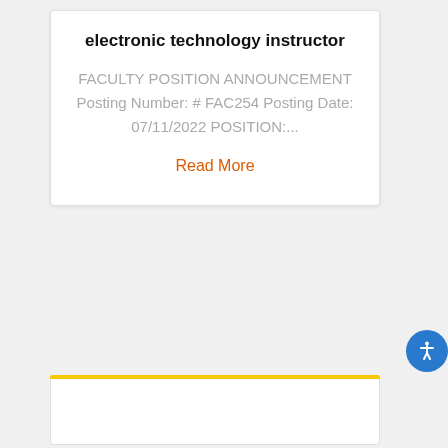electronic technology instructor
FACULTY POSITION ANNOUNCEMENT Posting Number: # FAC254 Posting Date: 07/11/2022 POSITION:...
Read More